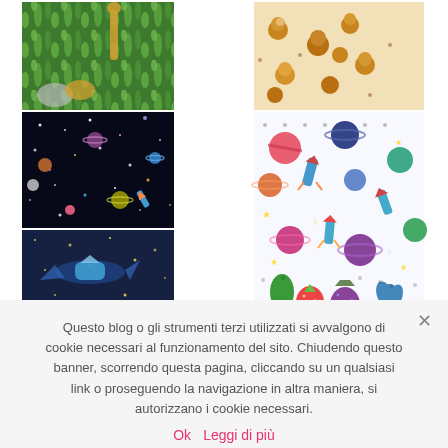[Figure (illustration): Grid of 6 fabric/textile pattern swatches: jungle animals (top-left), monkeys on cream (top-right), dark space/planets (mid-left), colorful space rockets and planets (mid-right), navy space with rockets (bottom-left), tropical fruits (bottom-right)]
Questo blog o gli strumenti terzi utilizzati si avvalgono di cookie necessari al funzionamento del sito. Chiudendo questo banner, scorrendo questa pagina, cliccando su un qualsiasi link o proseguendo la navigazione in altra maniera, si autorizzano i cookie necessari.
Ok   Leggi di più